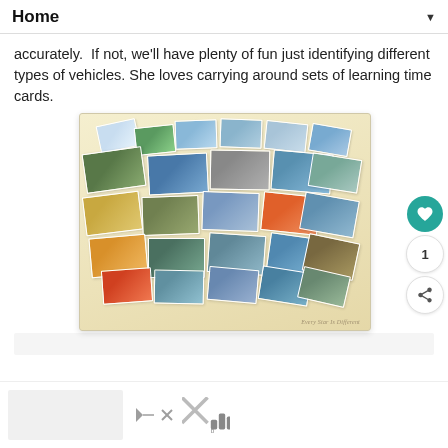Home ▼
accurately.  If not, we'll have plenty of fun just identifying different types of vehicles. She loves carrying around sets of learning time cards.
[Figure (photo): A collage of many small photo cards spread out in a fan/arc arrangement showing various vehicles (cars, boats, motorcycles, airplanes, bicycles, hot air balloon, jet skis, etc.) on a beige/cream background. Watermark reads 'Every Star Is Different']
1